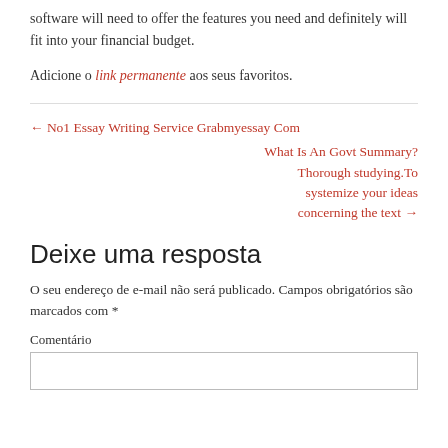software will need to offer the features you need and definitely will fit into your financial budget.
Adicione o link permanente aos seus favoritos.
← No1 Essay Writing Service Grabmyessay Com
What Is An Govt Summary? Thorough studying.To systemize your ideas concerning the text →
Deixe uma resposta
O seu endereço de e-mail não será publicado. Campos obrigatórios são marcados com *
Comentário